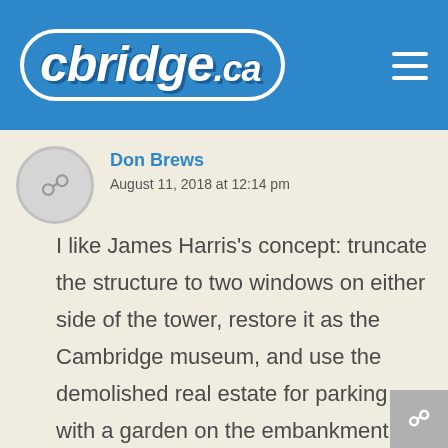cbridge.ca
Don Brews
August 11, 2018 at 12:14 pm
I like James Harris's concept: truncate the structure to two windows on either side of the tower, restore it as the Cambridge museum, and use the demolished real estate for parking with a garden on the embankment as was in the